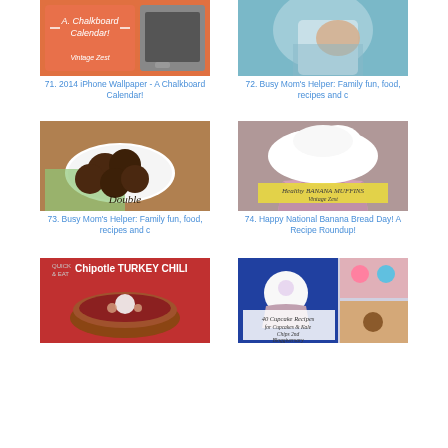[Figure (photo): Chalkboard calendar iPhone wallpaper - decorative coral/orange colored design with arrows]
71. 2014 iPhone Wallpaper - A Chalkboard Calendar!
[Figure (photo): Person in blue top with hand on knee - Busy Mom's Helper blog]
72. Busy Mom's Helper: Family fun, food, recipes and c
[Figure (photo): Double chocolate cookies on white plate with green napkin]
73. Busy Mom's Helper: Family fun, food, recipes and c
[Figure (photo): Healthy Banana Muffins - cupcake with white frosting and yellow label]
74. Happy National Banana Bread Day! A Recipe Roundup!
[Figure (photo): Chipotle Turkey Chili in bowl with toppings]
[Figure (photo): 40 Cupcake Recipes for Cupcakes and Kale Chips 2nd Bloggiversary - collage of cupcakes]